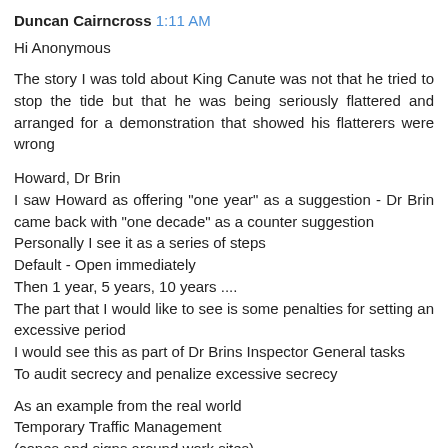Duncan Cairncross 1:11 AM
Hi Anonymous
The story I was told about King Canute was not that he tried to stop the tide but that he was being seriously flattered and arranged for a demonstration that showed his flatterers were wrong
Howard, Dr Brin
I saw Howard as offering "one year" as a suggestion - Dr Brin came back with "one decade" as a counter suggestion
Personally I see it as a series of steps
Default - Open immediately
Then 1 year, 5 years, 10 years ....
The part that I would like to see is some penalties for setting an excessive period
I would see this as part of Dr Brins Inspector General tasks
To audit secrecy and penalize excessive secrecy
As an example from the real world
Temporary Traffic Management
(cones and signs around work sites)